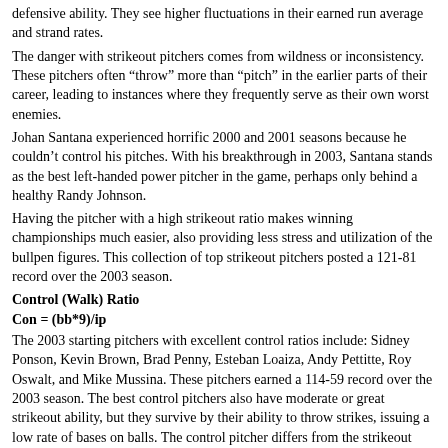defensive ability.   They see higher fluctuations in their earned run average and strand rates.
The danger with strikeout pitchers comes from wildness or inconsistency.  These pitchers often “throw” more than “pitch” in the earlier parts of their career, leading to instances where they frequently serve as their own worst enemies.
Johan Santana experienced horrific 2000 and 2001 seasons because he couldn’t control his pitches.   With his breakthrough in 2003, Santana stands as the best left-handed power pitcher in the game, perhaps only behind a healthy Randy Johnson.
Having the pitcher with a high strikeout ratio makes winning championships much easier, also providing less stress and utilization of the bullpen figures.  This collection of top strikeout pitchers posted a 121-81 record over the 2003 season.
Control (Walk) Ratio
The 2003 starting pitchers with excellent control ratios include:  Sidney Ponson, Kevin Brown, Brad Penny, Esteban Loaiza, Andy Pettitte, Roy Oswalt, and Mike Mussina.  These pitchers earned a 114-59 record over the 2003 season.  The best control pitchers also have moderate or great strikeout ability, but they survive by their ability to throw strikes, issuing a low rate of bases on balls.  The control pitcher differs from the strikeout artist in that he relies more heavily on team defense.   These pitchers allow a higher amount of hits per 9 innings because they don’t possess authoritative pitchers.   They survive by mental awareness and deception as much as the quality of their pitches.
Command Ratio
Looking at strikeout or walk ratios in isolation, rather than as two essential components, misses the mark in observing pitchers.   Some pitchers like